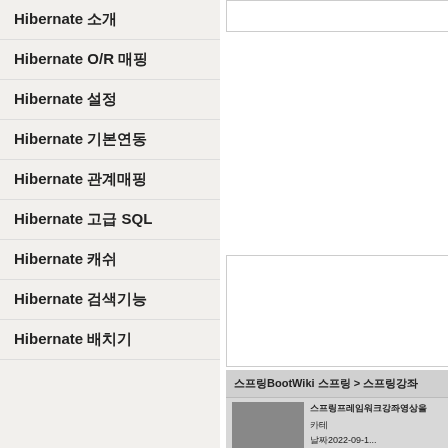Hibernate 소개
Hibernate O/R 매핑
Hibernate 설정
Hibernate 기본연동
Hibernate 관계매핑
Hibernate 고급 SQL
Hibernate 캐쉬
Hibernate 검색기능
Hibernate 배치기
[Figure (screenshot): Right panel top box - empty white area with border]
[Figure (screenshot): Right panel middle box - empty white area with border]
스프링BootWiki 스프링 > 스프링강좌
[Figure (photo): Thumbnail image - gray square]
스프링프레임워크강좌영상을
카테
날짜2022-09-1...